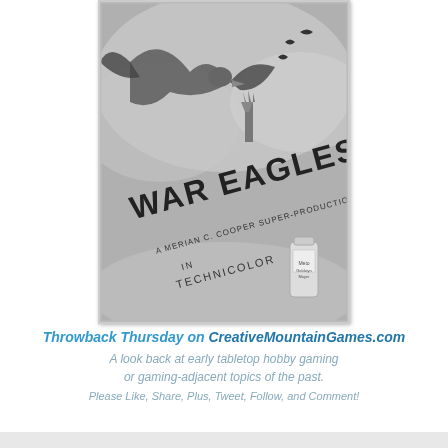[Figure (illustration): Black and white vintage movie poster for 'War Eagles', described as 'A Merian C. Cooper Super-Production in Technicolor'. Shows large eagles and fantasy/sci-fi imagery with the Statue of Liberty and flying creatures. A small product bottle is visible in the lower right.]
Throwback Thursday on CreativeMountainGames.com
A look back at early tabletop hobby gaming or gaming-adjacent topics of the past.
Please Like, Share, Plus, Tweet, Follow, and Comment!